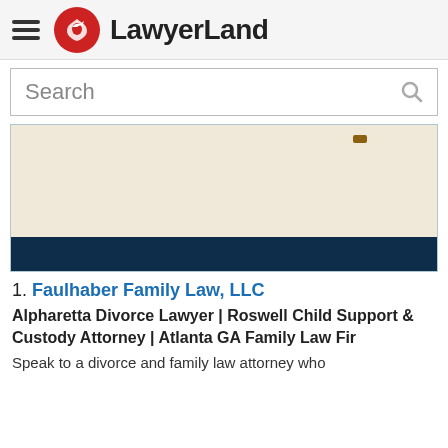LawyerLand
Search
[Figure (map): A partial map image with beige background and a dark navy bar at the bottom, showing a map location marker]
1. Faulhaber Family Law, LLC
Alpharetta Divorce Lawyer | Roswell Child Support & Custody Attorney | Atlanta GA Family Law Fir
Speak to a divorce and family law attorney who